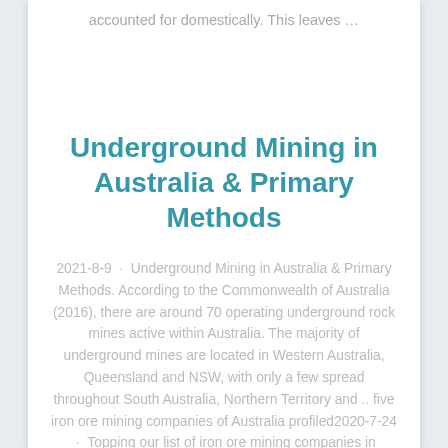accounted for domestically. This leaves …
Underground Mining in Australia & Primary Methods
2021-8-9 · Underground Mining in Australia & Primary Methods. According to the Commonwealth of Australia (2016), there are around 70 operating underground rock mines active within Australia. The majority of underground mines are located in Western Australia, Queensland and NSW, with only a few spread throughout South Australia, Northern Territory and .. five iron ore mining companies of Australia profiled2020-7-24 · Topping our list of iron ore mining companies in Australia is Melbourne-based diversified